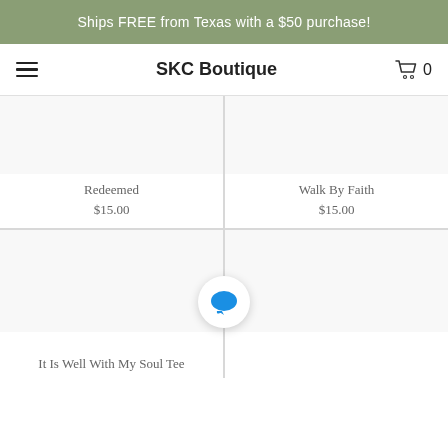Ships FREE from Texas with a $50 purchase!
SKC Boutique
Redeemed
$15.00
Walk By Faith
$15.00
It Is Well With My Soul Tee